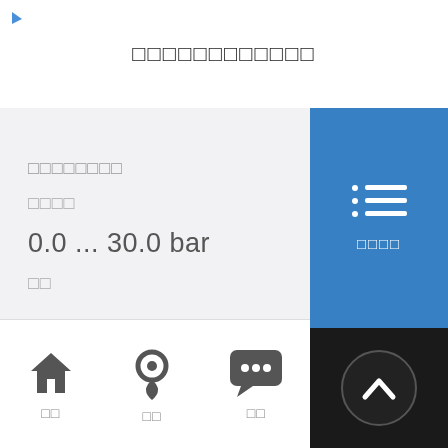□□□□□□□□□□□□
□□□□□□□□
□□□□
0.0 ... 30.0 bar
□□
[Figure (infographic): Blue side panel with bullet list icon and label below]
[Figure (infographic): Dark panel with upward chevron arrow circle button]
[Figure (infographic): Bottom navigation bar with home, location pin, and chat icons with labels]